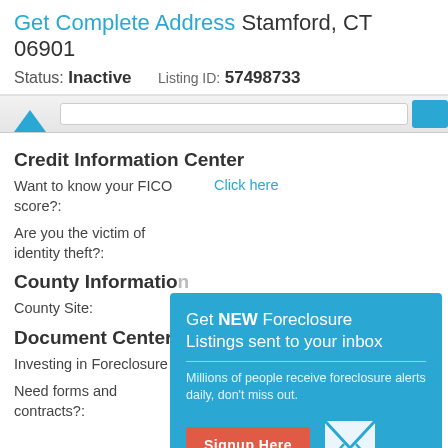Get Complete Address Stamford, CT 06901
Status: Inactive   Listing ID: 57498733
[Figure (screenshot): Navigation bar with blue triangle/pointer icon, search input field, and blue button]
Credit Information Center
Want to know your FICO score?:
Click here
Are you the victim of identity theft?:
[Figure (infographic): Popup overlay: Get NEW Foreclosure Listings sent to your inbox. Millions of people receive foreclosure alerts daily, don't miss out. Signup Here button. No Thanks | Remind Me Later. Mail envelope icon.]
County Information
County Site:
Document Center
Investing in Foreclosure
Need forms and contracts?:
Download documents